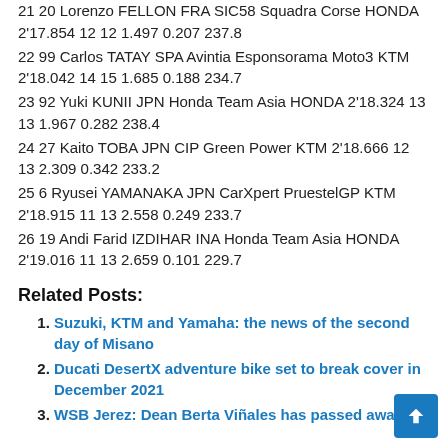21 20 Lorenzo FELLON FRA SIC58 Squadra Corse HONDA 2'17.854 12 12 1.497 0.207 237.8
22 99 Carlos TATAY SPA Avintia Esponsorama Moto3 KTM 2'18.042 14 15 1.685 0.188 234.7
23 92 Yuki KUNII JPN Honda Team Asia HONDA 2'18.324 13 13 1.967 0.282 238.4
24 27 Kaito TOBA JPN CIP Green Power KTM 2'18.666 12 13 2.309 0.342 233.2
25 6 Ryusei YAMANAKA JPN CarXpert PruestelGP KTM 2'18.915 11 13 2.558 0.249 233.7
26 19 Andi Farid IZDIHAR INA Honda Team Asia HONDA 2'19.016 11 13 2.659 0.101 229.7
Related Posts:
Suzuki, KTM and Yamaha: the news of the second day of Misano
Ducati DesertX adventure bike set to break cover in December 2021
WSB Jerez: Dean Berta Viñales has passed away